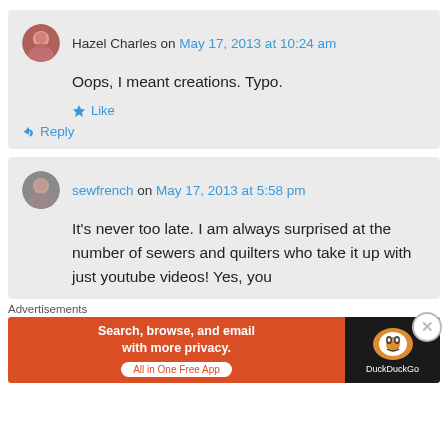Hazel Charles on May 17, 2013 at 10:24 am
Oops, I meant creations. Typo.
Like
Reply
sewfrench on May 17, 2013 at 5:58 pm
It's never too late. I am always surprised at the number of sewers and quilters who take it up with just youtube videos! Yes, you
Advertisements
[Figure (infographic): DuckDuckGo advertisement banner: Search, browse, and email with more privacy. All in One Free App. Shows DuckDuckGo logo on dark background.]